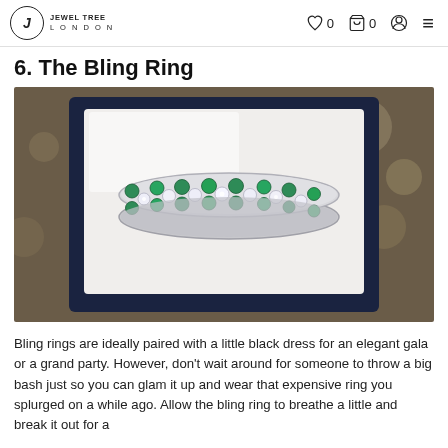Jewel Tree London — nav bar with logo, wishlist (0), cart (0), account, menu
6. The Bling Ring
[Figure (photo): Close-up photo of a platinum band ring set with a double row of alternating round emeralds and round diamonds, displayed in an open dark navy jewelry box lined with white satin/velvet.]
Bling rings are ideally paired with a little black dress for an elegant gala or a grand party. However, don't wait around for someone to throw a big bash just so you can glam it up and wear that expensive ring you splurged on a while ago. Allow the bling ring to breathe a little and break it out for a